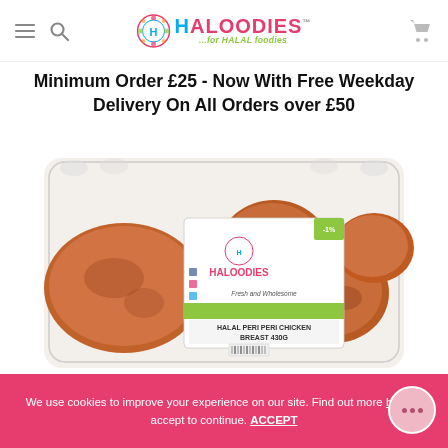Haloodies - for HALAL foodies (navigation header with hamburger menu, search, logo, and cart icon)
Minimum Order £25 - Now With Free Weekday Delivery On All Orders over £50
[Figure (photo): A retail plastic tray package of Haloodies Halal Peri Peri Chicken Breast 430G. The package shows several pieces of seasoned chicken pieces with a Haloodies branded label showing 'Fresh and Wholesome' and 'HALAL PERI PERI CHICKEN BREAST 430G'.]
We use cookies to improve your experience on our site. Find out more here or accept to continue. ACCEPT